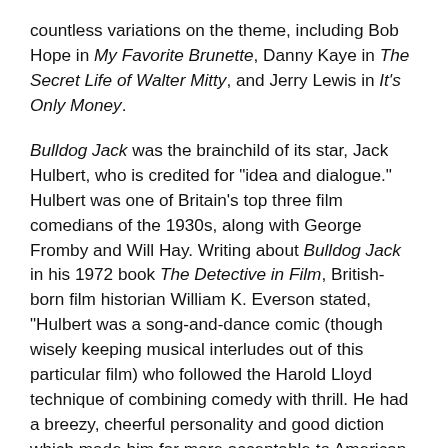countless variations on the theme, including Bob Hope in My Favorite Brunette, Danny Kaye in The Secret Life of Walter Mitty, and Jerry Lewis in It's Only Money.
Bulldog Jack was the brainchild of its star, Jack Hulbert, who is credited for "idea and dialogue." Hulbert was one of Britain's top three film comedians of the 1930s, along with George Fromby and Will Hay. Writing about Bulldog Jack in his 1972 book The Detective in Film, British-born film historian William K. Everson stated, "Hulbert was a song-and-dance comic (though wisely keeping musical interludes out of this particular film) who followed the Harold Lloyd technique of combining comedy with thrill. He had a breezy, cheerful personality and good diction which made him far more acceptable to American audiences than many of the regional comics from Britain with their heavy local accents. His films were always solidly produced, with good sets, camerawork, and well-staged action scenes." (In fact, I would never have even heard of Bulldog Jack if it hadn't been for